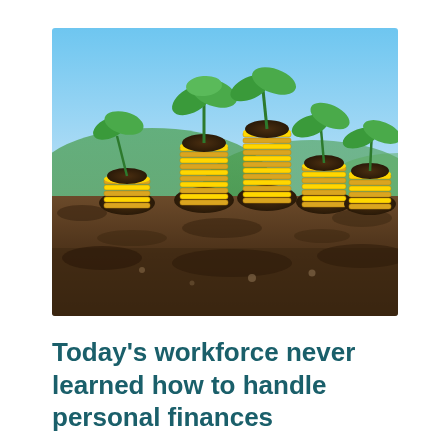[Figure (photo): Stacks of gold coins of varying heights with green plant seedlings sprouting from soil on top of each stack, set against a blurred blue sky and green hills background. The coins are arranged in an ascending and descending pattern suggesting financial growth.]
Today's workforce never learned how to handle personal finances